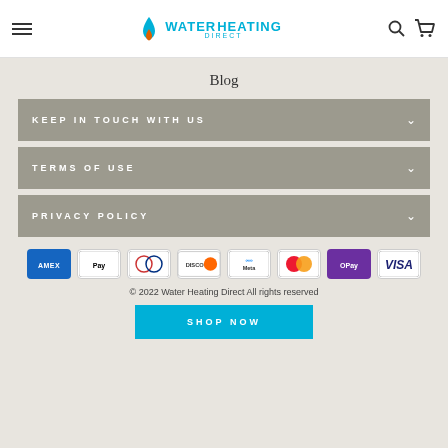Water Heating Direct
Blog
KEEP IN TOUCH WITH US
TERMS OF USE
PRIVACY POLICY
[Figure (other): Payment method icons: AMEX, Apple Pay, Diners, Discover, Meta, Mastercard, GPay, Visa]
© 2022 Water Heating Direct All rights reserved
SHOP NOW